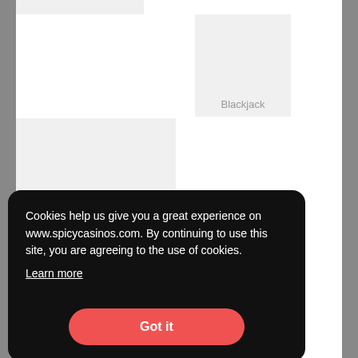[Figure (screenshot): Screenshot of a casino website (www.spicycasinos.com) showing gray placeholder card images. One card in the top right area is labeled 'Blackjack'. Another larger placeholder card is partially visible at lower left.]
Cookies help us give you a great experience on www.spicycasinos.com. By continuing to use this site, you are agreeing to the use of cookies.
Learn more
Got it